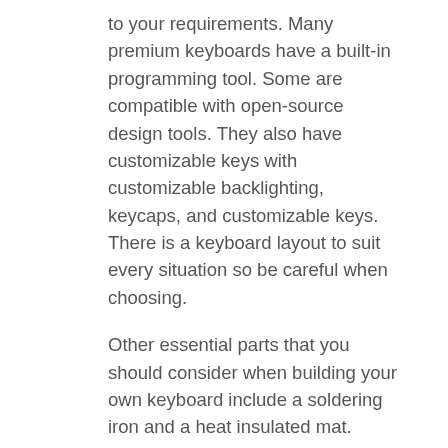to your requirements. Many premium keyboards have a built-in programming tool. Some are compatible with open-source design tools. They also have customizable keys with customizable backlighting, keycaps, and customizable keys. There is a keyboard layout to suit every situation so be careful when choosing.
Other essential parts that you should consider when building your own keyboard include a soldering iron and a heat insulated mat. These will keep your soldering iron safe. They will keep your keys safe and prevent them from scratching. Magnetic holding trays are also useful for small screws and bolts storage. Make sure you take your time when choosing the parts that will best suit your keyboard build. You'll be glad that you did. Enjoy!